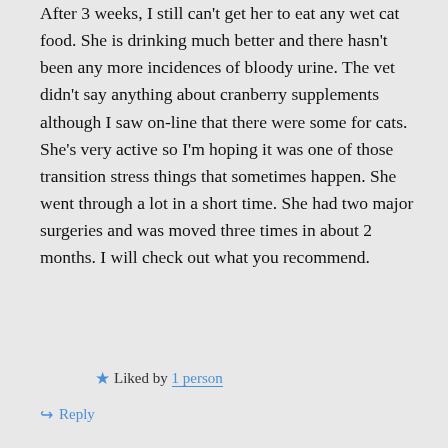After 3 weeks, I still can't get her to eat any wet cat food. She is drinking much better and there hasn't been any more incidences of bloody urine. The vet didn't say anything about cranberry supplements although I saw on-line that there were some for cats. She's very active so I'm hoping it was one of those transition stress things that sometimes happen. She went through a lot in a short time. She had two major surgeries and was moved three times in about 2 months. I will check out what you recommend.
Liked by 1 person
Reply